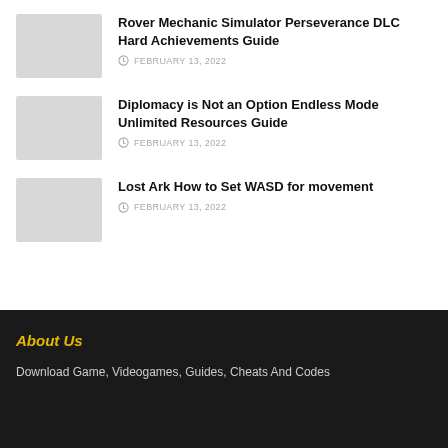[Figure (photo): Thumbnail image placeholder for Rover Mechanic Simulator article]
Rover Mechanic Simulator Perseverance DLC Hard Achievements Guide
FEBRUARY 13, 2022
[Figure (photo): Thumbnail image placeholder for Diplomacy is Not an Option article]
Diplomacy is Not an Option Endless Mode Unlimited Resources Guide
FEBRUARY 13, 2022
[Figure (photo): Thumbnail image placeholder for Lost Ark article]
Lost Ark How to Set WASD for movement
FEBRUARY 13, 2022
About Us
Download Game, Videogames, Guides, Cheats And Codes